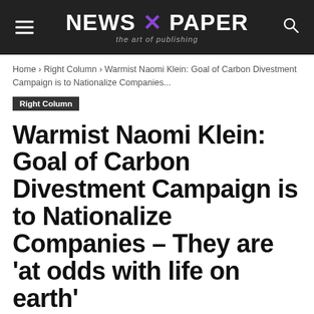NEWS X PAPER — the art of publishing
Home › Right Column › Warmist Naomi Klein: Goal of Carbon Divestment Campaign is to Nationalize Companies...
Right Column
Warmist Naomi Klein: Goal of Carbon Divestment Campaign is to Nationalize Companies – They are 'at odds with life on earth'
By Marc Morano – February 11, 2015  306  0